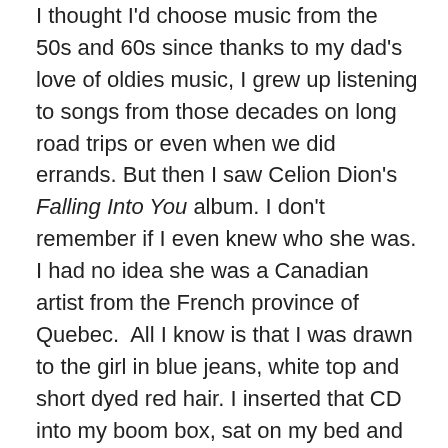I thought I'd choose music from the 50s and 60s since thanks to my dad's love of oldies music, I grew up listening to songs from those decades on long road trips or even when we did errands. But then I saw Celion Dion's Falling Into You album. I don't remember if I even knew who she was. I had no idea she was a Canadian artist from the French province of Quebec.  All I know is that I was drawn to the girl in blue jeans, white top and short dyed red hair. I inserted that CD into my boom box, sat on my bed and read the lyrics in the jacket as I listened to every song. The music captivated me. Her voice blew me away.
A tradition had begun.
A tradition had begun.